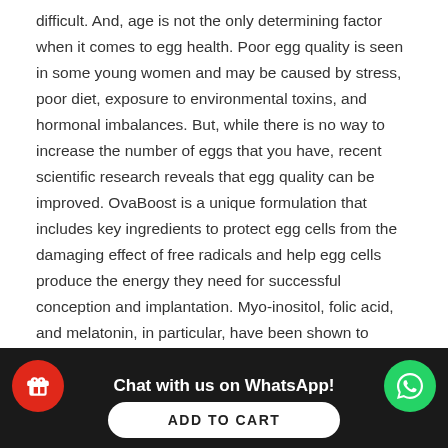difficult. And, age is not the only determining factor when it comes to egg health. Poor egg quality is seen in some young women and may be caused by stress, poor diet, exposure to environmental toxins, and hormonal imbalances. But, while there is no way to increase the number of eggs that you have, recent scientific research reveals that egg quality can be improved. OvaBoost is a unique formulation that includes key ingredients to protect egg cells from the damaging effect of free radicals and help egg cells produce the energy they need for successful conception and implantation. Myo-inositol, folic acid, and melatonin, in particular, have been shown to significantly improve egg quality in trying-to-conceive women when taken in specific doses together. In addition, myo-inositol supplementation is thought to improve insulin resistance and therefore may be helpful for women with PCOS.
Chat with us on WhatsApp!
ADD TO CART